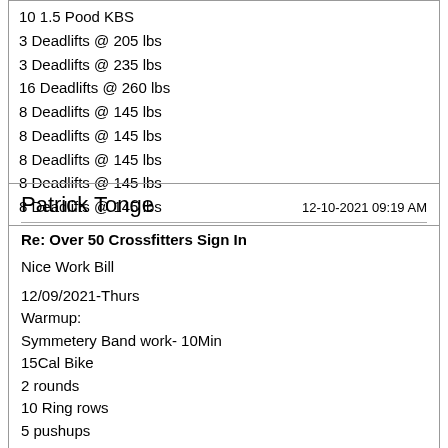10 1.5 Pood KBS
3 Deadlifts @ 205 lbs
3 Deadlifts @ 235 lbs
16 Deadlifts @ 260 lbs
8 Deadlifts @ 145 lbs
8 Deadlifts @ 145 lbs
8 Deadlifts @ 145 lbs
8 Deadlifts @ 145 lbs
8 Deadlifts @ 145 lbs
Patrick Tonge    12-10-2021 09:19 AM
Re: Over 50 Crossfitters Sign In
Nice Work Bill
12/09/2021-Thurs
Warmup:
Symmetery Band work- 10Min
15Cal Bike
2 rounds
10 Ring rows
5 pushups
10 PVC Squats
Skillzzz
EMOM x 30min- Work at least 30sec.